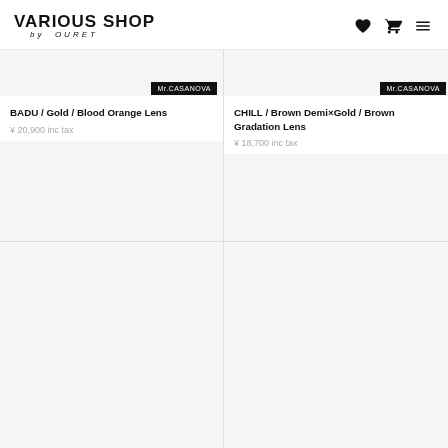VARIOUS SHOP by OURET
[Figure (photo): Product image placeholder top left - light grey background]
Mr.CASANOVA
BADU / Gold / Blood Orange Lens
¥ 20,900 inc tax
[Figure (photo): Product image placeholder top right - light grey background]
Mr.CASANOVA
CHILL / Brown Demi×Gold / Brown Gradation Lens
¥ 18,700 inc tax
[Figure (photo): Product image placeholder bottom left - light grey background]
[Figure (photo): Product image placeholder bottom right - light grey background]